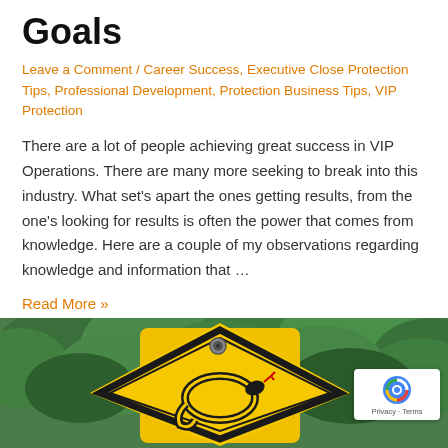Goals
Leave a Comment / Career Success, Executive Close Protection Tips, Professional Development, Protection Business Tips, VIP Protection
There are a lot of people achieving great success in VIP Operations. There are many more seeking to break into this industry. What set's apart the ones getting results, from the one's looking for results is often the power that comes from knowledge. Here are a couple of my observations regarding knowledge and information that …
Read More »
[Figure (photo): Yellow diamond-shaped warning sign with a snake symbol, surrounded by green trees/bushes in the background. A reCAPTCHA badge is overlaid in the bottom right corner.]